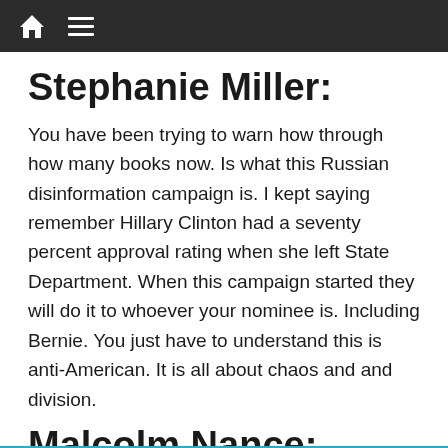Navigation bar with home and menu icons
Stephanie Miller:
You have been trying to warn how through how many books now. Is what this Russian disinformation campaign is. I kept saying remember Hillary Clinton had a seventy percent approval rating when she left State Department. When this campaign started they will do it to whoever your nominee is. Including Bernie. You just have to understand this is anti-American. It is all about chaos and and division.
Malcolm Nance:
It is! It is about chaos and division and they are harnessing the Democratic voters who each have a